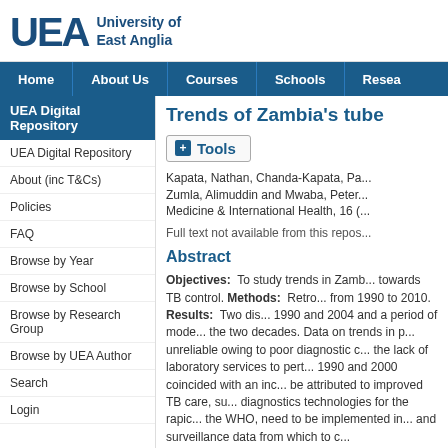[Figure (logo): University of East Anglia logo with UEA letters and institution name]
Home | About Us | Courses | Schools | Resea...
UEA Digital Repository
UEA Digital Repository
About (inc T&Cs)
Policies
FAQ
Browse by Year
Browse by School
Browse by Research Group
Browse by UEA Author
Search
Login
Trends of Zambia's tube...
+ Tools
Kapata, Nathan, Chanda-Kapata, Pa... Zumla, Alimuddin and Mwaba, Peter... Medicine & International Health, 16 (...
Full text not available from this repos...
Abstract
Objectives: To study trends in Zamb... towards TB control. Methods: Retro... from 1990 to 2010. Results: Two dis... 1990 and 2004 and a period of mode... the two decades. Data on trends in p... unreliable owing to poor diagnostic c... the lack of laboratory services to pert... 1990 and 2000 coincided with an inc... be attributed to improved TB care, su... diagnostics technologies for the rapic... the WHO, need to be implemented in... and surveillance data from which to c...